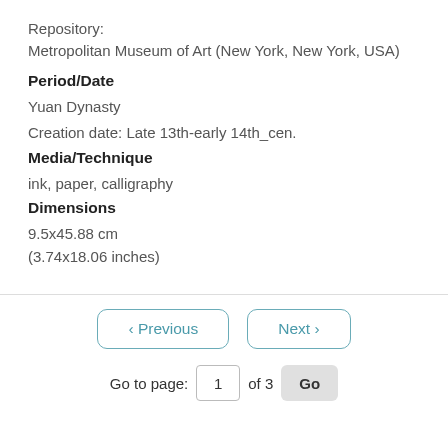Repository:
Metropolitan Museum of Art (New York, New York, USA)
Period/Date
Yuan Dynasty
Creation date: Late 13th-early 14th_cen.
Media/Technique
ink, paper, calligraphy
Dimensions
9.5x45.88 cm
(3.74x18.06 inches)
< Previous   Next >   Go to page: 1 of 3  Go